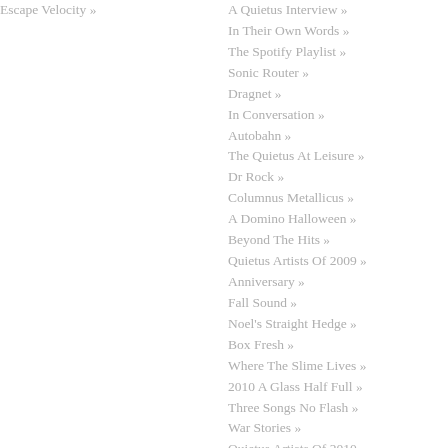Escape Velocity »
A Quietus Interview »
In Their Own Words »
The Spotify Playlist »
Sonic Router »
Dragnet »
In Conversation »
Autobahn »
The Quietus At Leisure »
Dr Rock »
Columnus Metallicus »
A Domino Halloween »
Beyond The Hits »
Quietus Artists Of 2009 »
Anniversary »
Fall Sound »
Noel's Straight Hedge »
Box Fresh »
Where The Slime Lives »
2010 A Glass Half Full »
Three Songs No Flash »
War Stories »
Quietus Artists Of 2010 »
Baker's Dozen »
Coast To Coast »
Rockfort »
Ten Songs »
An Eastern Spring »
Rum Music »
Quietus Mixes & Radio »
Hyperspecific »